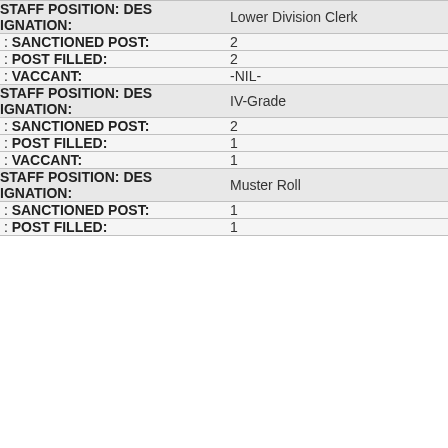| Field | Value |
| --- | --- |
| STAFF POSITION: DESIGNATION: | Lower Division Clerk |
| : SANCTIONED POST: | 2 |
| : POST FILLED: | 2 |
| : VACCANT: | -NIL- |
| STAFF POSITION: DESIGNATION: | IV-Grade |
| : SANCTIONED POST: | 2 |
| : POST FILLED: | 1 |
| : VACCANT: | 1 |
| STAFF POSITION: DESIGNATION: | Muster Roll |
| : SANCTIONED POST: | 1 |
| : POST FILLED: | 1 |